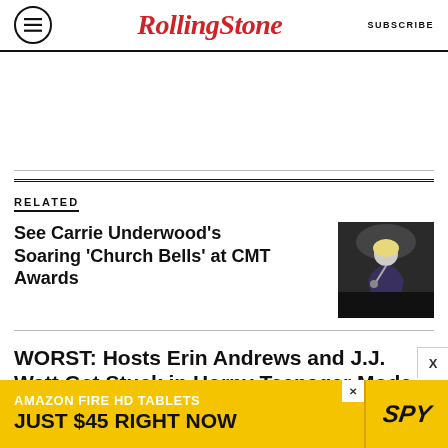Rolling Stone | SUBSCRIBE
RELATED
See Carrie Underwood's Soaring 'Church Bells' at CMT Awards
[Figure (photo): Photo of a blonde female singer performing on stage in a dark outfit]
WORST: Hosts Erin Andrews and J.J. Watt Get Stuck in Horny Teenager Mode
[Figure (infographic): Amazon Fire HD Tablets advertisement banner — AMAZON FIRE HD TABLETS JUST $45 RIGHT NOW — SPY logo]